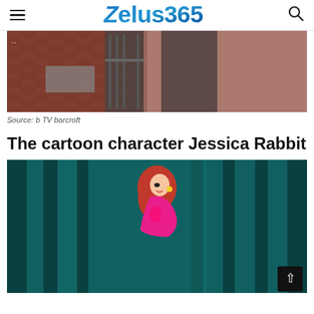Zelus365
[Figure (photo): Partial photo showing a person in dark clothing walking past a brick wall with a metal gate. Pink/brick toned environment.]
Source: b TV barcroft
The cartoon character Jessica Rabbit
[Figure (photo): Photo of a cartoon character (Jessica Rabbit) standing in front of teal/dark curtains. The character has red hair and is wearing a pink outfit.]